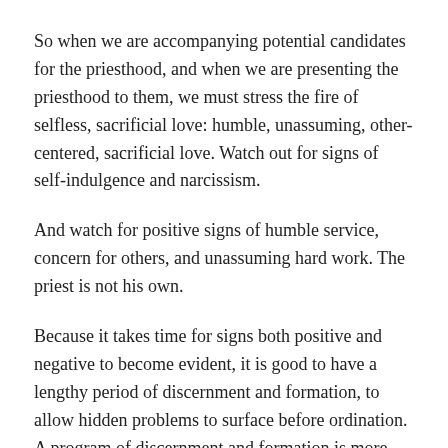So when we are accompanying potential candidates for the priesthood, and when we are presenting the priesthood to them, we must stress the fire of selfless, sacrificial love: humble, unassuming, other-centered, sacrificial love. Watch out for signs of self-indulgence and narcissism.
And watch for positive signs of humble service, concern for others, and unassuming hard work. The priest is not his own.
Because it takes time for signs both positive and negative to become evident, it is good to have a lengthy period of discernment and formation, to allow hidden problems to surface before ordination. A program of discernment and formation is more like a crock pot than a wok: it takes time. That is why in my own diocese and seminary I have lengthened the process: more time before entry into the formation community: a year or two in